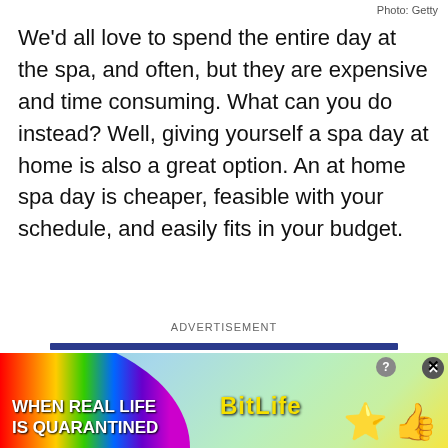Photo: Getty
We'd all love to spend the entire day at the spa, and often, but they are expensive and time consuming. What can you do instead? Well, giving yourself a spa day at home is also a great option. An at home spa day is cheaper, feasible with your schedule, and easily fits in your budget.
ADVERTISEMENT
[Figure (photo): BitLife advertisement banner with rainbow background, text 'WHEN REAL LIFE IS QUARANTINED' and BitLife logo with emoji characters]